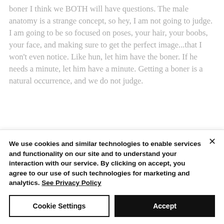boner I think we BOTH will have questions. The male anatomy is a strange concept, so hey, I am not going to judge. I am going to be so focused on poses, your hair, your boobs, your face, and making sure to get the perfect image...that I won't even notice. Like hun, let him have the boner. If he needs a minute, let him have a minute. Getting a boner is a natural occurrence, and we do not judge.
We use cookies and similar technologies to enable services and functionality on our site and to understand your interaction with our service. By clicking on accept, you agree to our use of such technologies for marketing and analytics. See Privacy Policy